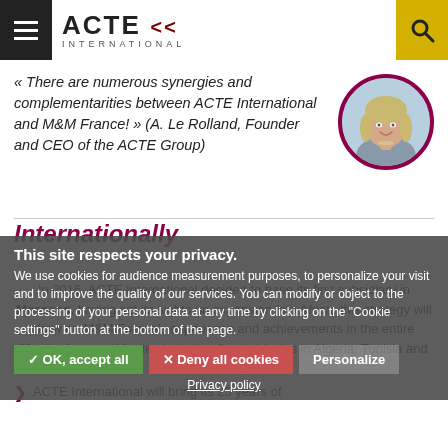ACTE INTERNATIONAL
« There are numerous synergies and complementarities between ACTE International and M&M France! » (A. Le Rolland, Founder and CEO of the ACTE Group)
[Figure (photo): Portrait of a smiling woman with short blonde hair, circular crop with dark red border]
Internationally
This site respects your privacy. We use cookies for audience measurement purposes, to personalize your visit and to improve the quality of our services. You can modify or object to the processing of your personal data at any time by clicking on the "Cookie settings" button at the bottom of the page.
In 2016, ACTE International decided to base its first subsidiary in Morocco, having set its sights on expansion into Africa: this strategy will draw on M&M France's experience and achievements in the entire Maghreb zone (10 sites including 3 subsidiaries in Algeria, Tunisia and Morocco).
ACTE International will bring its 25 years of